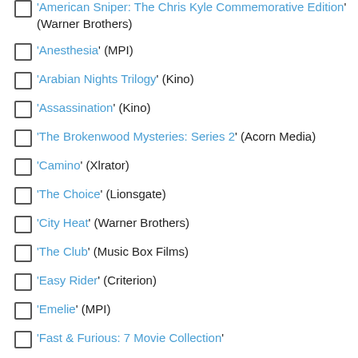'American Sniper: The Chris Kyle Commemorative Edition' (Warner Brothers)
'Anesthesia' (MPI)
'Arabian Nights Trilogy' (Kino)
'Assassination' (Kino)
'The Brokenwood Mysteries: Series 2' (Acorn Media)
'Camino' (Xlrator)
'The Choice' (Lionsgate)
'City Heat' (Warner Brothers)
'The Club' (Music Box Films)
'Easy Rider' (Criterion)
'Emelie' (MPI)
'Fast & Furious: 7 Movie Collection'